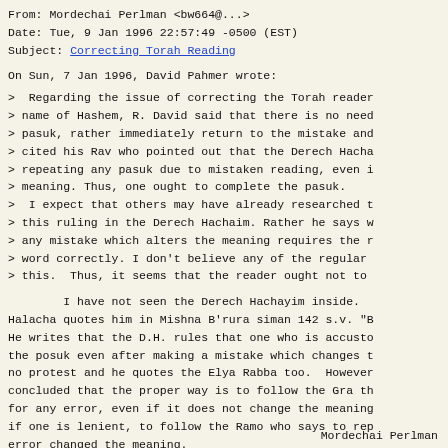From: Mordechai Perlman <bw664@...>
Date: Tue, 9 Jan 1996 22:57:49 -0500 (EST)
Subject: Correcting Torah Reading
On Sun, 7 Jan 1996, David Pahmer wrote:
>  Regarding the issue of correcting the Torah reader
> name of Hashem, R. David said that there is no need
> pasuk, rather immediately return to the mistake and
> cited his Rav who pointed out that the Derech Hacha
> repeating any pasuk due to mistaken reading, even i
> meaning. Thus, one ought to complete the pasuk.
>  I expect that others may have already researched t
> this ruling in the Derech Hachaim. Rather he says w
> any mistake which alters the meaning requires the r
> word correctly. I don't believe any of the regular
> this.  Thus, it seems that the reader ought not to
I have not seen the Derech Hachayim inside.
Halacha quotes him in Mishna B'rura siman 142 s.v. "B
He writes that the D.H. rules that one who is accusto
the posuk even after making a mistake which changes t
no protest and he quotes the Elya Rabba too.  However
concluded that the proper way is to follow the Gra th
for any error, even if it does not change the meaning
if one is lenient, to follow the Ramo who says to rep
error changed the meaning.
Mordechai Perlman